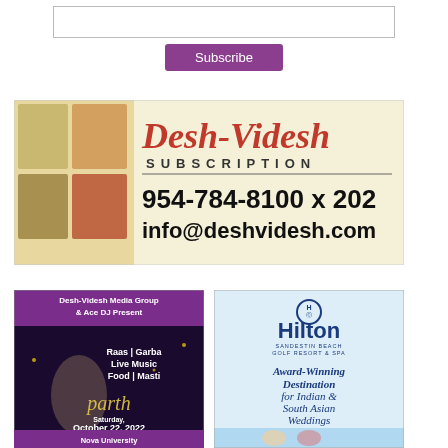[Figure (infographic): Email subscription input box and purple Subscribe button]
[Figure (infographic): Desh-Videsh Subscription banner ad with magazine covers, red cursive logo, SUBSCRIPTION text, phone number 954-784-8100 x 202, and info@deshvidesh.com]
[Figure (infographic): Desh-Videsh Media Group & Ace DJ Present event ad for Parth featuring Raas Garba Live Music Food Masti on Saturday October 22 2022 6:00 PM to 1:00 AM at Nova University Rick Case Arena Don Taft University Center]
[Figure (infographic): Hilton Sandestin Beach Golf Resort & Spa advertisement: Award-Winning Destination for Indian & South Asian Weddings, with beach couple photo]